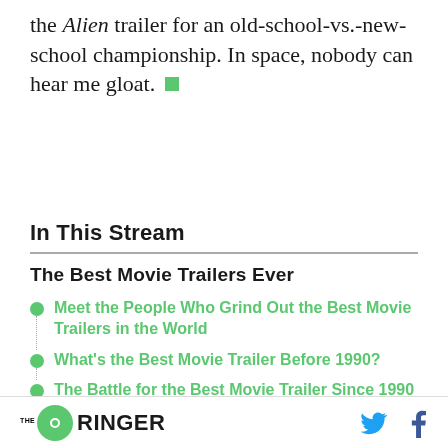the Alien trailer for an old-school-vs.-new-school championship. In space, nobody can hear me gloat. ■
In This Stream
The Best Movie Trailers Ever
Meet the People Who Grind Out the Best Movie Trailers in the World
What's the Best Movie Trailer Before 1990?
The Battle for the Best Movie Trailer Since 1990
VIEW ALL 10 STORIES
THE RINGER